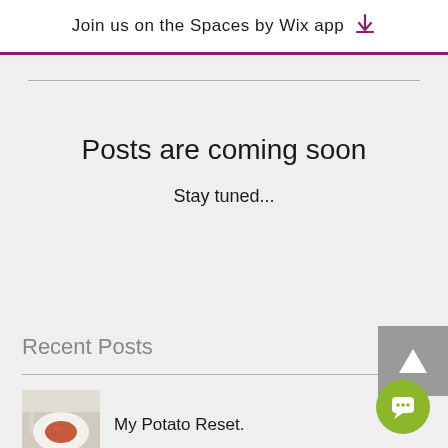Join us on the Spaces by Wix app
Posts are coming soon
Stay tuned...
Recent Posts
My Potato Reset.